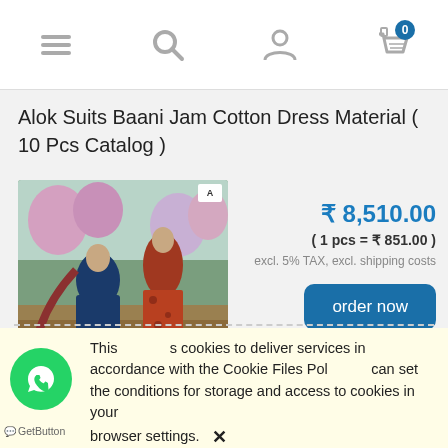[Figure (screenshot): Navigation bar with hamburger menu, search icon, user icon, and cart icon with count 0]
Alok Suits Baani Jam Cotton Dress Material ( 10 Pcs Catalog )
[Figure (photo): Product catalog photo showing two women in ethnic Indian dress, with BAANI text at bottom]
₹ 8,510.00
( 1 pcs = ₹ 851.00 )
excl. 5% TAX, excl. shipping costs
order now
This site uses cookies to deliver services in accordance with the Cookie Files Policy. You can set the conditions for storage and access to cookies in your browser settings. ✕